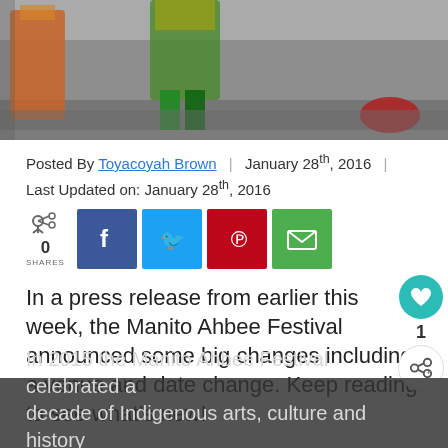[Figure (photo): Photograph of dancers at Manito Ahbee Festival, showing costumed performers' feet and lower bodies on a gray floor]
Posted By Toyacoyah Brown | January 28th, 2016 | Last Updated on: January 28th, 2016
[Figure (infographic): Social sharing buttons: 0 SHARES, Facebook, Twitter, Pinterest, Email]
In a press release from earlier this week, the Manito Ahbee Festival announced some big changes including a venue and date change. Keep reading to see what's new!
In 2015 the Manito Ahbee Festival celebrated a decade of Indigenous arts, culture and history Manito Ahbee and Downtown Winnipeg BIZ